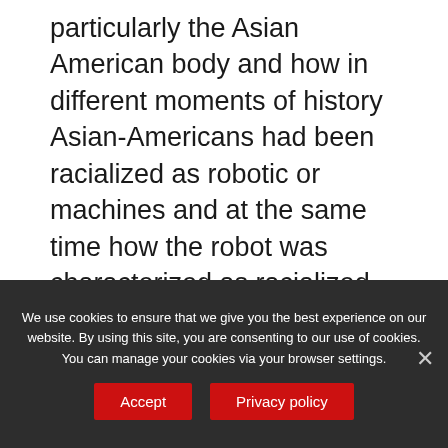particularly the Asian American body and how in different moments of history Asian-Americans had been racialized as robotic or machines and at the same time how the robot was characterized as racialized and as Asian American. I look at different time periods. For example, the 19th century I examine editorial cartoons ... oops, sorry.
We use cookies to ensure that we give you the best experience on our website. By using this site, you are consenting to our use of cookies. You can manage your cookies via your browser settings.